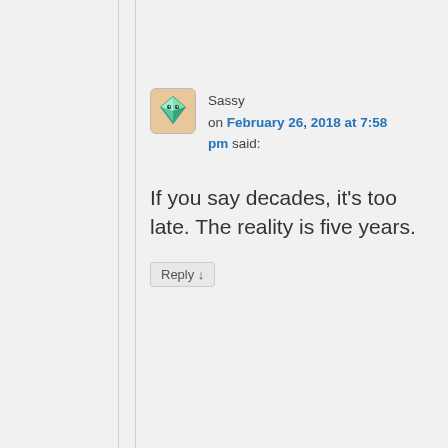Sassy
on February 26, 2018 at 7:58 pm said:
If you say decades, it's too late. The reality is five years.
Reply ↓
NorseRadish
on February 26, 2018 at 11:23 pm said:
I agree, Sassy.